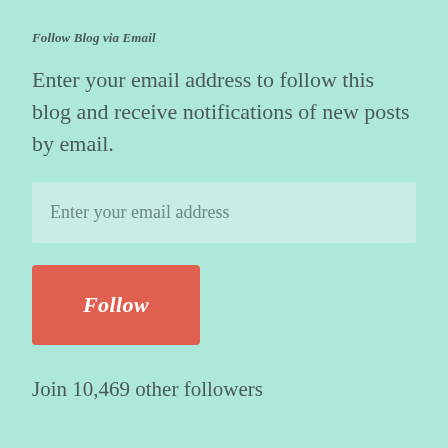Follow Blog via Email
Enter your email address to follow this blog and receive notifications of new posts by email.
Enter your email address
Follow
Join 10,469 other followers